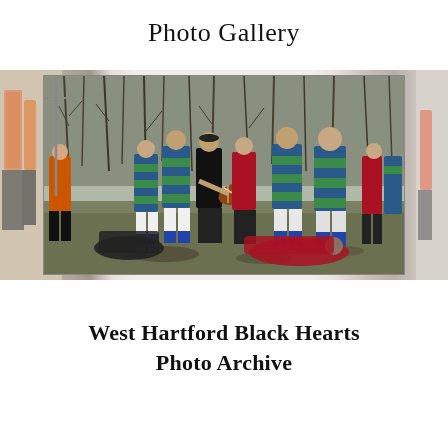Photo Gallery
[Figure (photo): Rugby match in progress outdoors on a muddy field. Players in blue-and-green striped jerseys compete against players in black and red jerseys. A ball is being passed. Background shows bare winter trees.]
West Hartford Black Hearts
Photo Archive